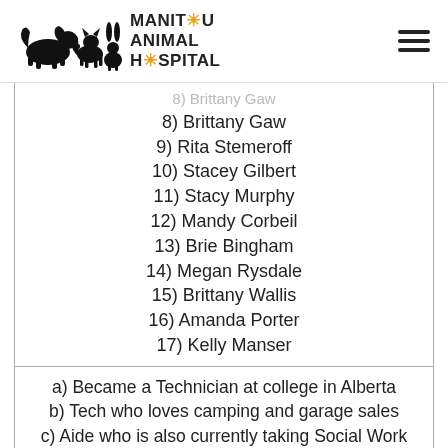MANITOU ANIMAL HOSPITAL
8) Brittany Gaw
9) Rita Stemeroff
10) Stacey Gilbert
11) Stacy Murphy
12) Mandy Corbeil
13) Brie Bingham
14) Megan Rysdale
15) Brittany Wallis
16) Amanda Porter
17) Kelly Manser
a) Became a Technician at college in Alberta
b) Tech who loves camping and garage sales
c) Aide who is also currently taking Social Work at College